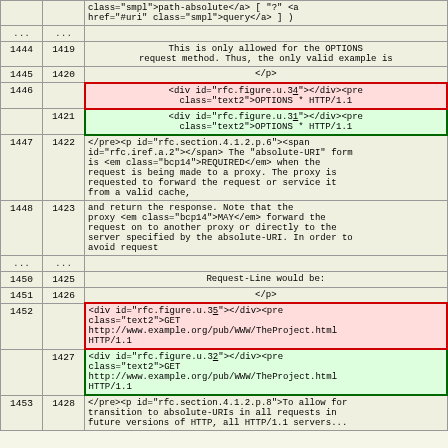|  |  |  |
| --- | --- | --- |
|  |  | class="smpl">path-absolute</a> [ "?" <a href="#uri" class="smpl">query</a> ] ) |
| ... | ... |  |
| 1444 | 1419 | This is only allowed for the OPTIONS request method. Thus, the only valid example is |
| 1445 | 1420 | </p> |
| 1446 |  | <div id="rfc.figure.u.34"></div><pre class="text2">OPTIONS * HTTP/1.1 |
|  | 1421 | <div id="rfc.figure.u.31"></div><pre class="text2">OPTIONS * HTTP/1.1 |
| 1447 | 1422 | </pre><p id="rfc.section.4.1.2.p.6"><span id="rfc.iref.a.2"></span> The "absolute-URI" form is <em class="bcp14">REQUIRED</em> when the request is being made to a proxy. The proxy is requested to forward the request or service it from a valid cache, |
| 1448 | 1423 |     and return the response. Note that the proxy <em class="bcp14">MAY</em> forward the request on to another proxy or directly to the server specified by the absolute-URI. In order to avoid request |
| ... | ... |  |
| 1450 | 1425 | Request-Line would be: |
| 1451 | 1426 | </p> |
| 1452 |  | <div id="rfc.figure.u.35"></div><pre class="text2">GET http://www.example.org/pub/WWW/TheProject.html HTTP/1.1 |
|  | 1427 | <div id="rfc.figure.u.32"></div><pre class="text2">GET http://www.example.org/pub/WWW/TheProject.html HTTP/1.1 |
| 1453 | 1428 | </pre><p id="rfc.section.4.1.2.p.8">To allow for transition to absolute-URIs in all requests in future versions of HTTP, all HTTP/1.1 servers... |